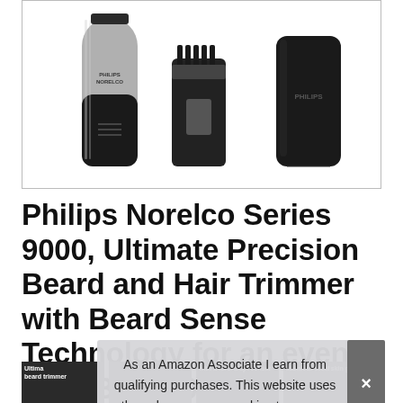[Figure (photo): Product photo of Philips Norelco trimmer kit showing three items: a silver and black cylindrical trimmer with PHILIPS NORELCO branding, a black comb attachment, and a black oval carrying case with PHILIPS branding, all on white background.]
Philips Norelco Series 9000, Ultimate Precision Beard and Hair Trimmer with Beard Sense Technology for an even trim, BT9810/40
#ad
As an Amazon Associate I earn from qualifying purchases. This website uses the only necessary cookies to ensure you get the best experience on our website. More information
[Figure (screenshot): Strip of four thumbnail images at the bottom of the page showing product video thumbnails including 'Ultimate beard trimmer', a person's face, 'with BeardAdapt sensor', and 'stainless steel skin guide' labels.]